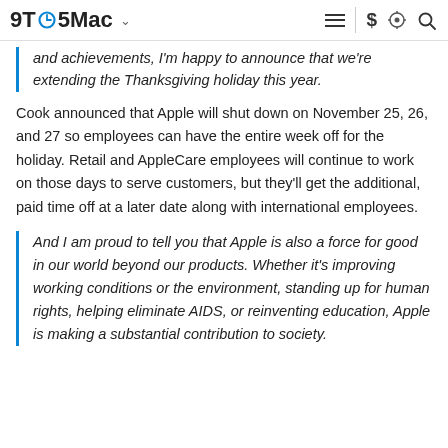9TO5Mac
and achievements, I'm happy to announce that we're extending the Thanksgiving holiday this year.
Cook announced that Apple will shut down on November 25, 26, and 27 so employees can have the entire week off for the holiday. Retail and AppleCare employees will continue to work on those days to serve customers, but they'll get the additional, paid time off at a later date along with international employees.
And I am proud to tell you that Apple is also a force for good in our world beyond our products. Whether it's improving working conditions or the environment, standing up for human rights, helping eliminate AIDS, or reinventing education, Apple is making a substantial contribution to society.